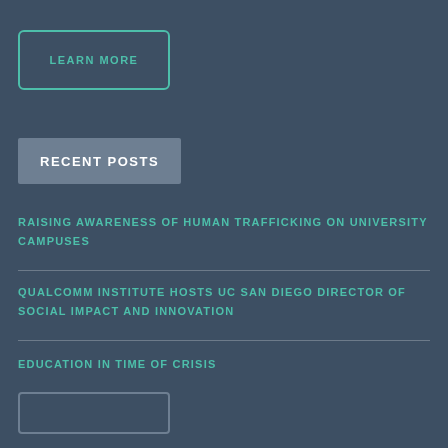LEARN MORE
RECENT POSTS
RAISING AWARENESS OF HUMAN TRAFFICKING ON UNIVERSITY CAMPUSES
QUALCOMM INSTITUTE HOSTS UC SAN DIEGO DIRECTOR OF SOCIAL IMPACT AND INNOVATION
EDUCATION IN TIME OF CRISIS